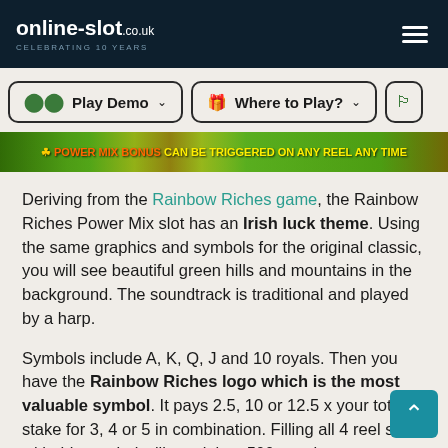online-slot.co.uk CELEBRATING 10 YEARS
[Figure (screenshot): Website navigation bar with Play Demo and Where to Play? buttons, and a partially visible third button]
[Figure (screenshot): Rainbow Riches Power Mix game screenshot banner showing POWER MIX BONUS CAN BE TRIGGERED ON ANY REEL ANY TIME]
Deriving from the Rainbow Riches game, the Rainbow Riches Power Mix slot has an Irish luck theme. Using the same graphics and symbols for the original classic, you will see beautiful green hills and mountains in the background. The soundtrack is traditional and played by a harp.
Symbols include A, K, Q, J and 10 royals. Then you have the Rainbow Riches logo which is the most valuable symbol. It pays 2.5, 10 or 12.5 x your total stake for 3, 4 or 5 in combination. Filling all 4 reel sets with this symbol will result in a 500 x stake payout.